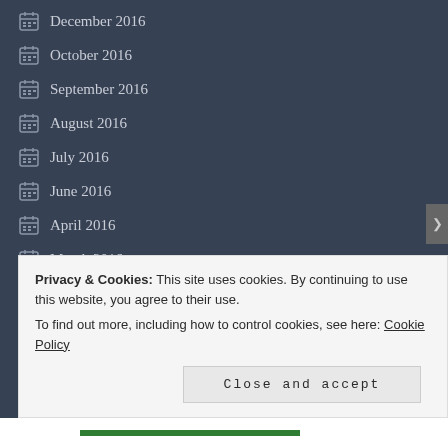December 2016
October 2016
September 2016
August 2016
July 2016
June 2016
April 2016
March 2016
February 2016
Privacy & Cookies: This site uses cookies. By continuing to use this website, you agree to their use.
To find out more, including how to control cookies, see here: Cookie Policy
Close and accept